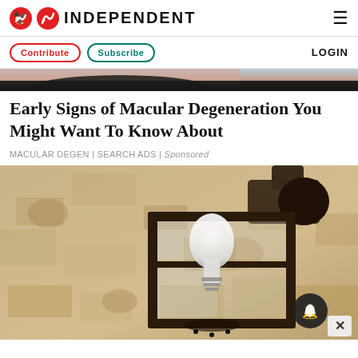INDEPENDENT
Contribute | Subscribe | LOGIN
[Figure (photo): Partial view of a person's face/shoulder at the top of the page (cropped header image)]
Early Signs of Macular Degeneration You Might Want To Know About
MACULAR DEGEN | SEARCH ADS | Sponsored
[Figure (photo): A black metal outdoor lantern wall lamp mounted on a rough stone/stucco wall, with a white light bulb visible inside the lantern casing]